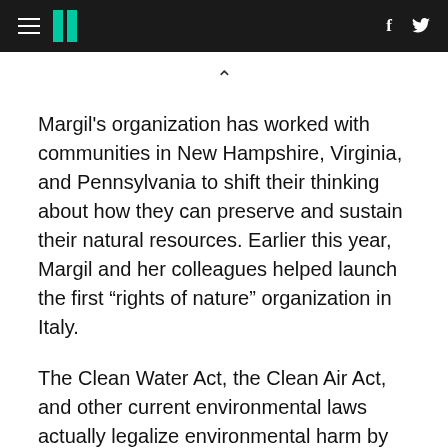HuffPost navigation header with hamburger menu, logo, Facebook and Twitter icons
Margil’s organization has worked with communities in New Hampshire, Virginia, and Pennsylvania to shift their thinking about how they can preserve and sustain their natural resources. Earlier this year, Margil and her colleagues helped launch the first “rights of nature” organization in Italy.
The Clean Water Act, the Clean Air Act, and other current environmental laws actually legalize environmental harm by regulating how